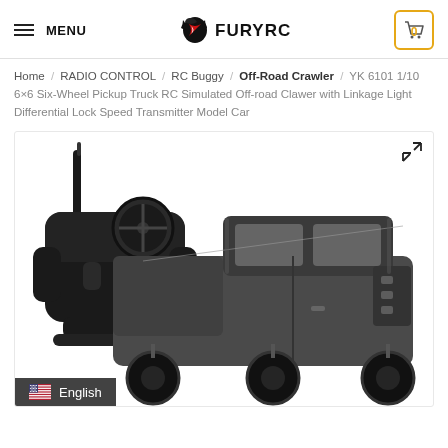MENU | FURYRC | Cart 0
Home / RADIO CONTROL / RC Buggy / Off-Road Crawler / YK 6101 1/10 6×6 Six-Wheel Pickup Truck RC Simulated Off-road Clawer with Linkage Light Differential Lock Speed Transmitter Model Car
[Figure (photo): Product photo showing a black RC radio controller/transmitter and a dark gray 6x6 off-road pickup truck RC model car (YK 6101). The truck has large off-road tires and detailed body. A US flag English language selector is visible at the bottom left of the image.]